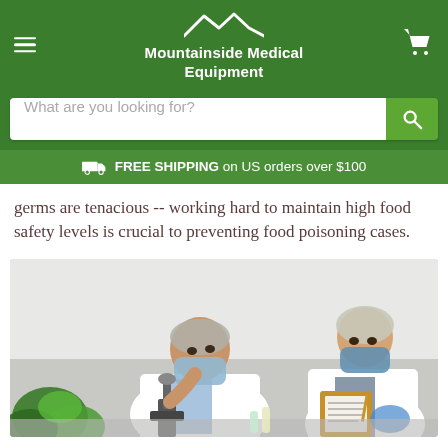Mountainside Medical Equipment
germs are tenacious -- working hard to maintain high food safety levels is crucial to preventing food poisoning cases.
[Figure (photo): Two lab workers in white coats, hair nets, and face masks. One examines a sample through a microscope while the other takes notes on a clipboard. Green plants visible in foreground.]